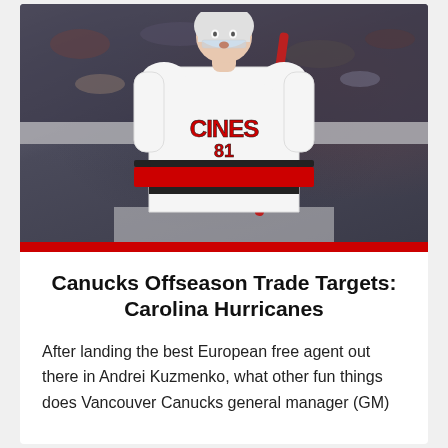[Figure (photo): Hockey player wearing Carolina Hurricanes white jersey number 81 on ice, holding a red hockey stick, crowd visible in background]
Canucks Offseason Trade Targets: Carolina Hurricanes
After landing the best European free agent out there in Andrei Kuzmenko, what other fun things does Vancouver Canucks general manager (GM)